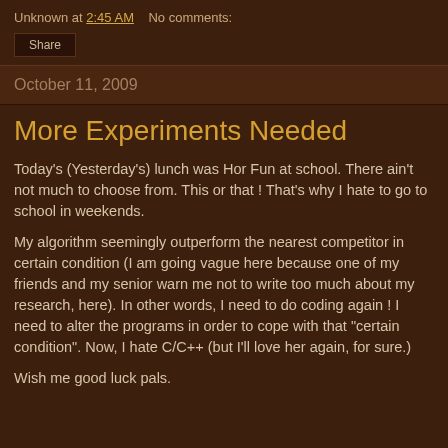Unknown at 2:45 AM   No comments:
Share
October 11, 2009
More Experiments Needed
Today's (Yesterday's) lunch was Hor Fun at school. There ain't not much to choose from. This or that ! That's why I hate to go to school in weekends.
My algorithm seemingly outperform the nearest competitor in certain condition (I am going vague here because one of my friends and my senior warn me not to write too much about my research, here). In other words, I need to do coding again ! I need to alter the programs in order to cope with that "certain condition". Now, I hate C/C++ (but I'll love her again, for sure.)
Wish me good luck pals.